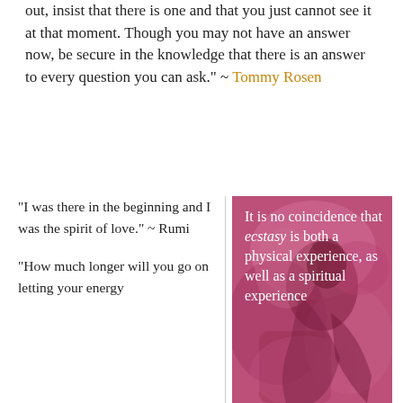out, insist that there is one and that you just cannot see it at that moment. Though you may not have an answer now, be secure in the knowledge that there is an answer to every question you can ask." ~ Tommy Rosen
"I was there in the beginning and I was the spirit of love." ~ Rumi
"How much longer will you go on letting your energy
[Figure (illustration): Pink-toned painterly illustration of a reclining figure with overlaid white text reading: 'It is no coincidence that ecstasy is both a physical experience, as well as a spiritual experience']